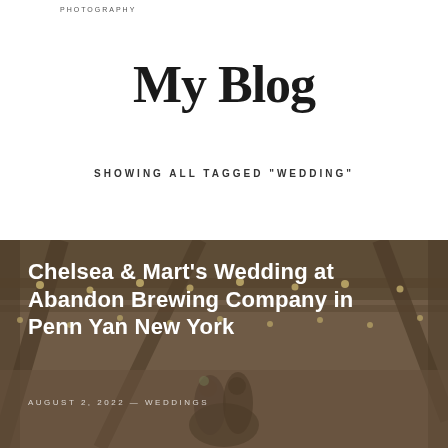PHOTOGRAPHY
My Blog
SHOWING ALL TAGGED "WEDDING"
[Figure (photo): Wedding photo at a barn venue with string lights; couple embracing under wooden beams. Overlaid with article title text: Chelsea & Mart's Wedding at Abandon Brewing Company in Penn Yan New York, and date: AUGUST 2, 2022 — WEDDINGS]
Chelsea & Mart's Wedding at Abandon Brewing Company in Penn Yan New York
AUGUST 2, 2022 — WEDDINGS